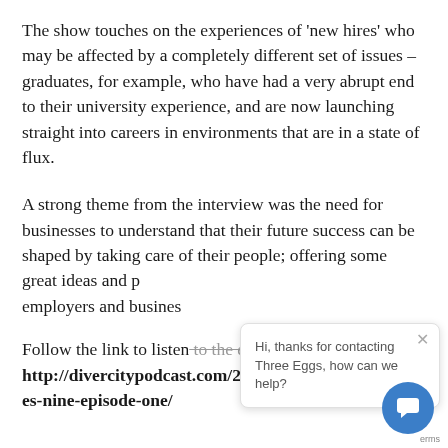The show touches on the experiences of 'new hires' who may be affected by a completely different set of issues – graduates, for example, who have had a very abrupt end to their university experience, and are now launching straight into careers in environments that are in a state of flux.
A strong theme from the interview was the need for businesses to understand that their future success can be shaped by taking care of their people; offering some great ideas and p[artial - obscured] employers and busines[s - obscured]
Follow the link to listen to the episode in full http://divercitypodcast.com/2020/09/23/series-nine-episode-one/
[Figure (screenshot): Chat popup overlay from Three Eggs chat service saying 'Hi, thanks for contacting Three Eggs, how can we help?' with a close button and a blue circular chat button in the bottom right corner.]